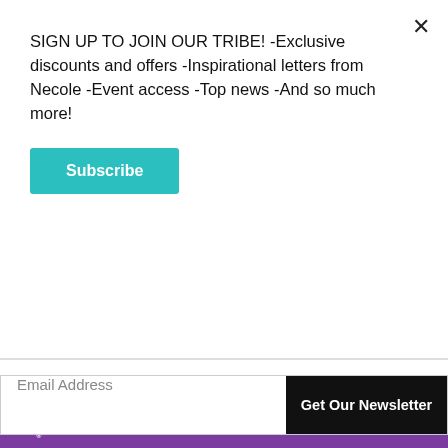SIGN UP TO JOIN OUR TRIBE! -Exclusive discounts and offers -Inspirational letters from Necole -Event access -Top news -And so much more!
Subscribe
Email Address
Get Our Newsletter
Teisha LeShea
Writer, Empath, Listener, Self Improver, and a motivational speaker to her homegirls Teisha LeShea currently resides in California who loves to add fifteen million items to her Amazon cart. She is passionate about wellness, spiritual improvement, leveling up, and setting up twice a month therapy
[Figure (photo): Circular avatar photo of Teisha LeShea]
[Figure (infographic): European Wax Center advertisement banner with 'smooth' text and 'First Wax Free - Book Now' offer]